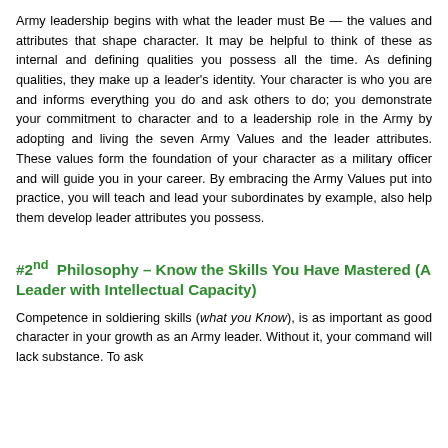Army leadership begins with what the leader must Be — the values and attributes that shape character. It may be helpful to think of these as internal and defining qualities you possess all the time. As defining qualities, they make up a leader's identity. Your character is who you are and informs everything you do and ask others to do; you demonstrate your commitment to character and to a leadership role in the Army by adopting and living the seven Army Values and the leader attributes. These values form the foundation of your character as a military officer and will guide you in your career. By embracing the Army Values put into practice, you will teach and lead your subordinates by example, also help them develop leader attributes you possess.
#2nd Philosophy – Know the Skills You Have Mastered (A Leader with Intellectual Capacity)
Competence in soldiering skills (what you Know), is as important as good character in your growth as an Army leader. Without it, your command will lack substance. To ask